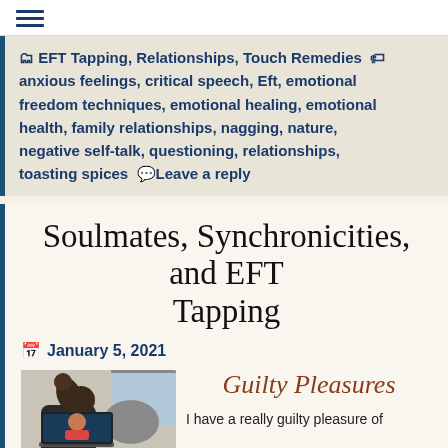☰ (hamburger menu icon)
🗂 EFT Tapping, Relationships, Touch Remedies 🏷 anxious feelings, critical speech, Eft, emotional freedom techniques, emotional healing, emotional health, family relationships, nagging, nature, negative self-talk, questioning, relationships, toasting spices 💬 Leave a reply
Soulmates, Synchronicities, and EFT Tapping
📅 January 5, 2021
[Figure (photo): Person tapping on their collarbone area with a laptop open on a video call in the background]
Guilty Pleasures
I have a really guilty pleasure of